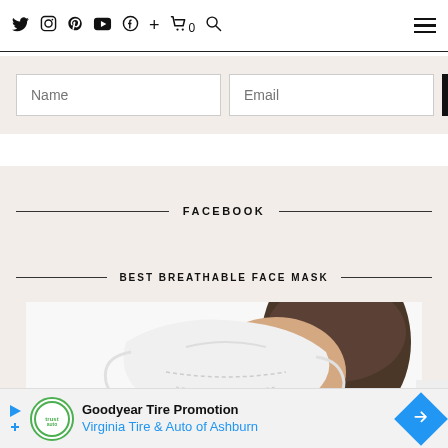Twitter Instagram Pinterest YouTube Facebook + Cart 0 Search [hamburger menu]
Name [input] Email [input] SUBSCRIBE [button]
FACEBOOK
BEST BREATHABLE FACE MASK
[Figure (photo): Person wearing a white KN95/N95 style breathable face mask, partial face and hair visible]
Goodyear Tire Promotion Virginia Tire & Auto of Ashburn